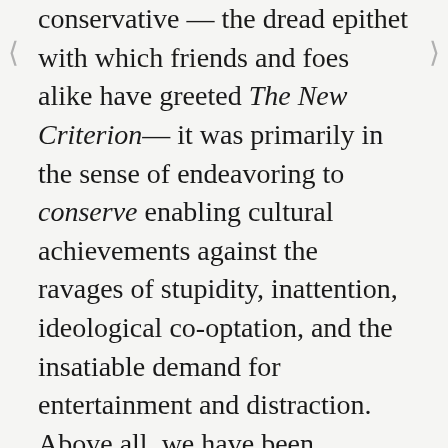conservative — the dread epithet with which friends and foes alike have greeted The New Criterion— it was primarily in the sense of endeavoring to conserve enabling cultural achievements against the ravages of stupidity, inattention, ideological co-optation, and the insatiable demand for entertainment and distraction. Above all, we have been cognizant of Edmund Burke's admonitions about the fragility of civilizational achievement. In the realm of culture as in the realm of politics and civil society, the hard-won accomplishments of generations require persistent attention and nurturing. What took decades or even centuries to build can be